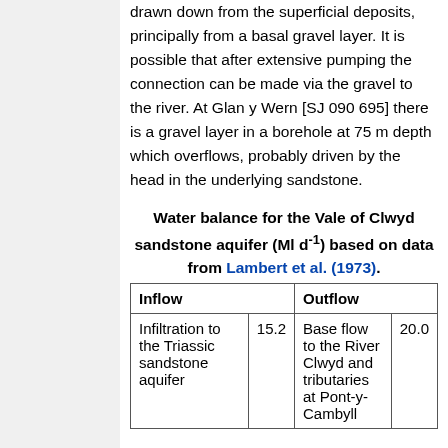drawn down from the superficial deposits, principally from a basal gravel layer. It is possible that after extensive pumping the connection can be made via the gravel to the river. At Glan y Wern [SJ 090 695] there is a gravel layer in a borehole at 75 m depth which overflows, probably driven by the head in the underlying sandstone.
Water balance for the Vale of Clwyd sandstone aquifer (Ml d-1) based on data from Lambert et al. (1973).
| Inflow | Outflow |
| --- | --- |
| Infiltration to the Triassic sandstone aquifer | 15.2 | Base flow to the River Clwyd and tributaries at Pont-y-Cambyll | 20.0 |